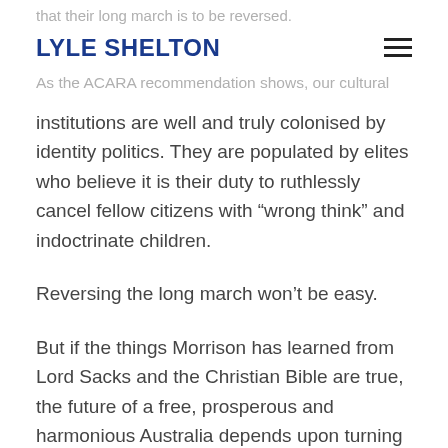that their long march is to be reversed.
LYLE SHELTON
As the ACARA recommendation shows, our cultural institutions are well and truly colonised by identity politics. They are populated by elites who believe it is their duty to ruthlessly cancel fellow citizens with “wrong think” and indoctrinate children.
Reversing the long march won’t be easy.
But if the things Morrison has learned from Lord Sacks and the Christian Bible are true, the future of a free, prosperous and harmonious Australia depends upon turning the tide.
This has been Morrison’s finest hour as PM. He has laid